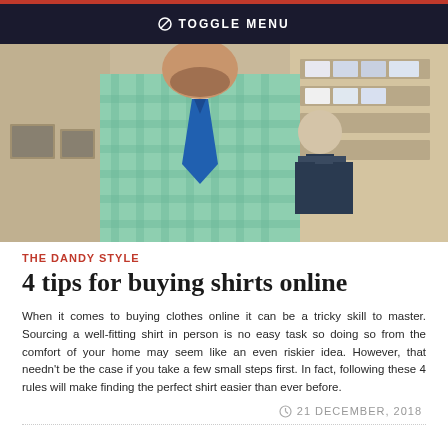⊘ TOGGLE MENU
[Figure (photo): A man in a light green/teal checkered shirt with a blue tie standing in what appears to be a clothing store, with a mannequin and shelves of shirts visible in the background.]
THE DANDY STYLE
4 tips for buying shirts online
When it comes to buying clothes online it can be a tricky skill to master. Sourcing a well-fitting shirt in person is no easy task so doing so from the comfort of your home may seem like an even riskier idea. However, that needn't be the case if you take a few small steps first. In fact, following these 4 rules will make finding the perfect shirt easier than ever before.
21 DECEMBER, 2018